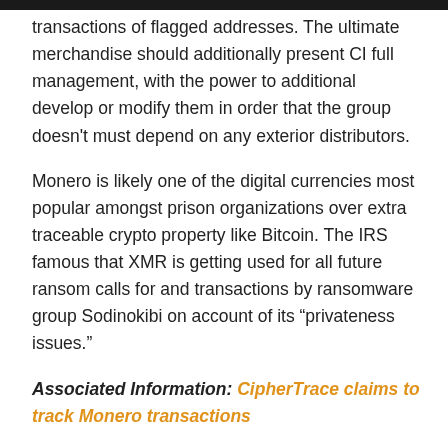transactions of flagged addresses. The ultimate merchandise should additionally present CI full management, with the power to additional develop or modify them in order that the group doesn't must depend on any exterior distributors.
Monero is likely one of the digital currencies most popular amongst prison organizations over extra traceable crypto property like Bitcoin. The IRS famous that XMR is getting used for all future ransom calls for and transactions by ransomware group Sodinokibi on account of its “privateness issues.”
Associated Information: CipherTrace claims to track Monero transactions
Demand for privateness cash amongst prison syndicates has grown as authorities have elevated their